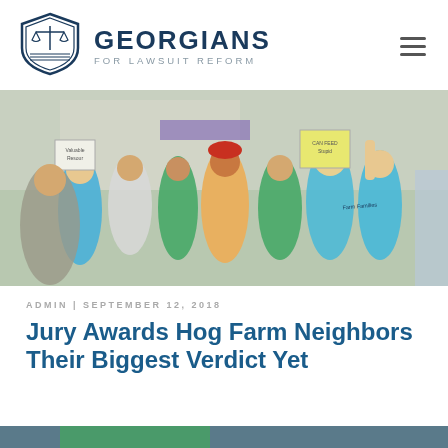[Figure (logo): Georgians for Lawsuit Reform shield logo with scales of justice]
GEORGIANS FOR LAWSUIT REFORM
[Figure (photo): Crowd of protesters holding signs at an outdoor rally, including people wearing teal Farm Families shirts and holding yellow signs]
ADMIN | SEPTEMBER 12, 2018
Jury Awards Hog Farm Neighbors Their Biggest Verdict Yet